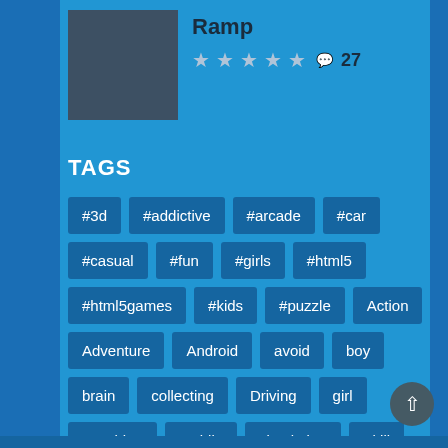Ramp
★★★★★ 27
TAGS
#3d
#addictive
#arcade
#car
#casual
#fun
#girls
#html5
#html5games
#kids
#puzzle
Action
Adventure
Android
avoid
boy
brain
collecting
Driving
girl
Matching
mobile
simulation
Skill
webgl